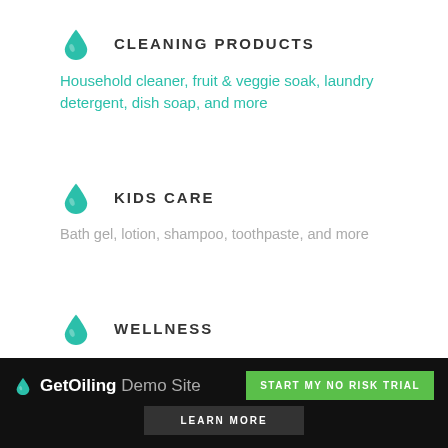CLEANING PRODUCTS
Household cleaner, fruit & veggie soak, laundry detergent, dish soap, and more
KIDS CARE
Bath gel, lotion, shampoo, toothpaste, and more
WELLNESS
Antioxidant support, healthy snacking, and more
GetOiling Demo Site  START MY NO RISK TRIAL  LEARN MORE